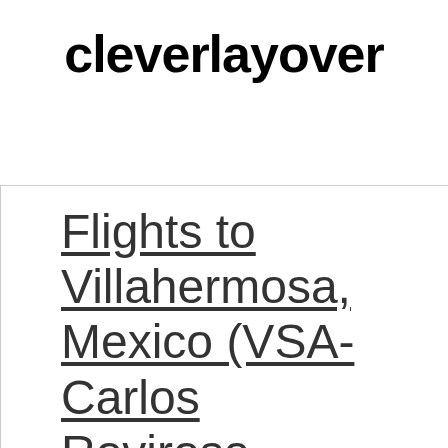cleverlayover
Flights to Villahermosa, Mexico (VSA-Carlos Rovirosa Perez)
Fli Sp (V